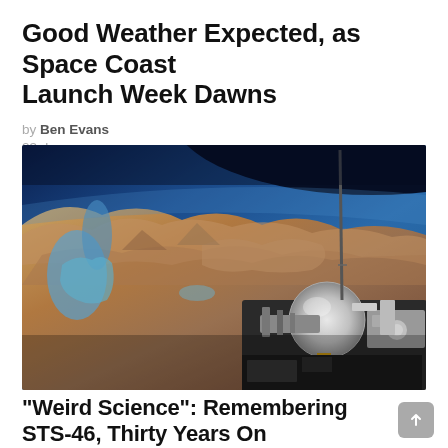Good Weather Expected, as Space Coast Launch Week Dawns
by Ben Evans
23 days ago
[Figure (photo): Space shuttle payload bay and equipment in orbit, with Earth's surface visible below showing sandy/arid terrain (possibly Middle East or North Africa), blue ocean, and dark space with curved horizon in background.]
“Weird Science”: Remembering STS-46, Thirty Years On